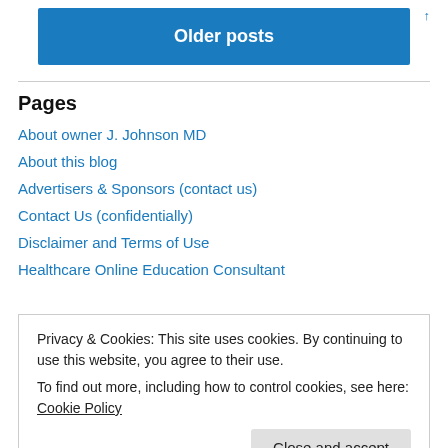↑
Older posts
Pages
About owner J. Johnson MD
About this blog
Advertisers & Sponsors (contact us)
Contact Us (confidentially)
Disclaimer and Terms of Use
Healthcare Online Education Consultant
Privacy & Cookies: This site uses cookies. By continuing to use this website, you agree to their use.
To find out more, including how to control cookies, see here: Cookie Policy
Close and accept
Categories